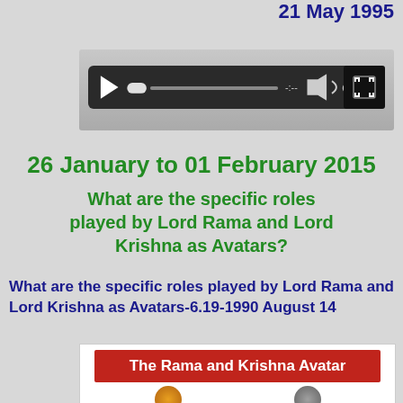21 May 1995
[Figure (screenshot): Audio/media player bar with play button, progress bar, time indicator, volume control, and expand button on dark background]
26 January to 01 February 2015
What are the specific roles played by Lord Rama and Lord Krishna as Avatars?
What are the specific roles played by Lord Rama and Lord Krishna as Avatars-6.19-1990 August 14
[Figure (screenshot): Image with red banner titled 'The Rama and Krishna Avatar' showing circular portraits of Lord Rama and Lord Krishna]